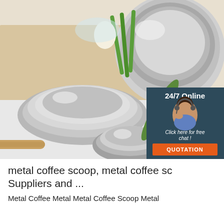[Figure (photo): Product photo of stainless steel mixing bowls arranged on a kitchen counter with vegetables, eggs, and a wooden rolling pin in the background. A customer service chat widget overlay appears in the lower-right corner of the image showing '24/7 Online', a female agent photo, 'Click here for free chat!', and an orange 'QUOTATION' button.]
metal coffee scoop, metal coffee scoop Suppliers and ...
Metal Coffee Metal Metal Coffee Scoop Metal